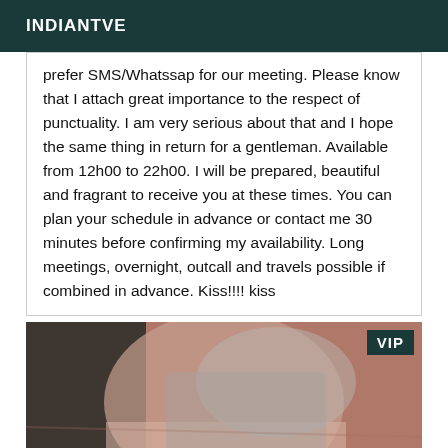INDIANTVE
prefer SMS/Whatssap for our meeting. Please know that I attach great importance to the respect of punctuality. I am very serious about that and I hope the same thing in return for a gentleman. Available from 12h00 to 22h00. I will be prepared, beautiful and fragrant to receive you at these times. You can plan your schedule in advance or contact me 30 minutes before confirming my availability. Long meetings, overnight, outcall and travels possible if combined in advance. Kiss!!!! kiss
[Figure (photo): Close-up photo of a person, with a VIP badge overlay in the top-right corner]